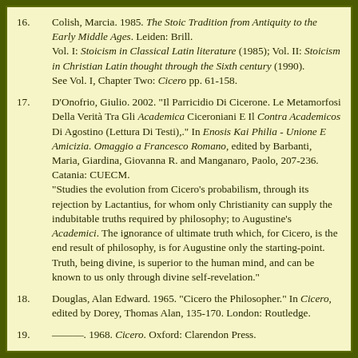16. Colish, Marcia. 1985. The Stoic Tradition from Antiquity to the Early Middle Ages. Leiden: Brill.
Vol. I: Stoicism in Classical Latin literature (1985); Vol. II: Stoicism in Christian Latin thought through the Sixth century (1990).
See Vol. I, Chapter Two: Cicero pp. 61-158.
17. D'Onofrio, Giulio. 2002. "Il Parricidio Di Cicerone. Le Metamorfosi Della Verità Tra Gli Academica Ciceroniani E Il Contra Academicos Di Agostino (Lettura Di Testi),." In Enosis Kai Philia - Unione E Amicizia. Omaggio a Francesco Romano, edited by Barbanti, Maria, Giardina, Giovanna R. and Manganaro, Paolo, 207-236. Catania: CUECM.
"Studies the evolution from Cicero's probabilism, through its rejection by Lactantius, for whom only Christianity can supply the indubitable truths required by philosophy; to Augustine's Academici. The ignorance of ultimate truth which, for Cicero, is the end result of philosophy, is for Augustine only the starting-point. Truth, being divine, is superior to the human mind, and can be known to us only through divine self-revelation."
18. Douglas, Alan Edward. 1965. "Cicero the Philosopher." In Cicero, edited by Dorey, Thomas Alan, 135-170. London: Routledge.
19. ———. 1968. Cicero. Oxford: Clarendon Press.
20. ———. 1973. "The Intellectual Background of Cicero's Rhetorica. A Study in Method." In Aufstieg Und Niedergang Der Römischen Welt. Teil I: Von Den Anfängen Roms Bis Zum